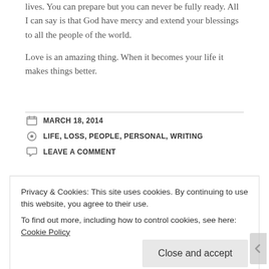lives. You can prepare but you can never be fully ready. All I can say is that God have mercy and extend your blessings to all the people of the world.
Love is an amazing thing. When it becomes your life it makes things better.
MARCH 18, 2014
LIFE, LOSS, PEOPLE, PERSONAL, WRITING
LEAVE A COMMENT
Privacy & Cookies: This site uses cookies. By continuing to use this website, you agree to their use.
To find out more, including how to control cookies, see here: Cookie Policy